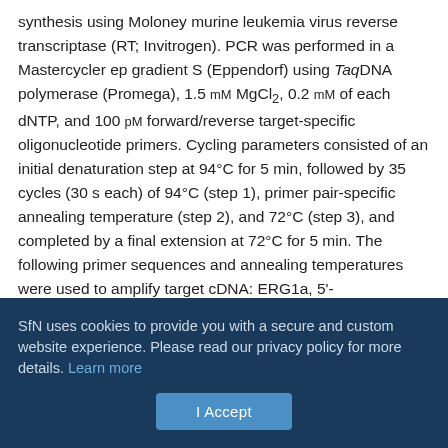synthesis using Moloney murine leukemia virus reverse transcriptase (RT; Invitrogen). PCR was performed in a Mastercycler ep gradient S (Eppendorf) using TaqDNA polymerase (Promega), 1.5 mM MgCl2, 0.2 mM of each dNTP, and 100 pM forward/reverse target-specific oligonucleotide primers. Cycling parameters consisted of an initial denaturation step at 94°C for 5 min, followed by 35 cycles (30 s each) of 94°C (step 1), primer pair-specific annealing temperature (step 2), and 72°C (step 3), and completed by a final extension at 72°C for 5 min. The following primer sequences and annealing temperatures were used to amplify target cDNA: ERG1a, 5'-ATGCCGGTGCGGAGGGCCAC-3' (fwd1)/5'-TAGAAGGCGATCTCCACTTTG-3' (rev1)/temperature (T) = 55°C; ERG1b, 5'-ATGGCGATTCCAACCGGGAAG-3' (fwd1)/5'-
SfN uses cookies to provide you with a secure and custom website experience. Please read our privacy policy for more details. Learn more